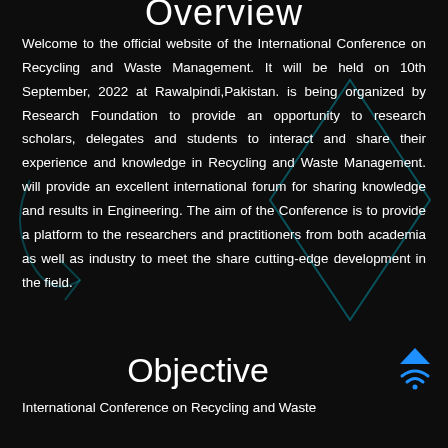Overview
Welcome to the official website of the International Conference on Recycling and Waste Management. It will be held on 10th September, 2022 at Rawalpindi,Pakistan. is being organized by Research Foundation to provide an opportunity to research scholars, delegates and students to interact and share their experience and knowledge in Recycling and Waste Management. will provide an excellent international forum for sharing knowledge and results in Engineering. The aim of the Conference is to provide a platform to the researchers and practitioners from both academia as well as industry to meet the share cutting-edge development in the field.
Objective
International Conference on Recycling and Waste